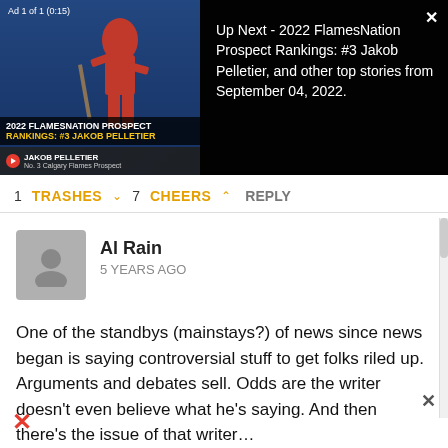[Figure (screenshot): Video player thumbnail showing a hockey player, with '2022 FlamesNation Prospect Rankings: #3 Jakob Pelletier' title overlay and ad badge 'Ad 1 of 1 (0:15)']
Up Next - 2022 FlamesNation Prospect Rankings: #3 Jakob Pelletier, and other top stories from September 04, 2022.
1 TRASHES 7 CHEERS REPLY
Al Rain
5 YEARS AGO
One of the standbys (mainstays?) of news since news began is saying controversial stuff to get folks riled up. Arguments and debates sell. Odds are the writer doesn't even believe what he's saying. And then there's the issue of that writer...